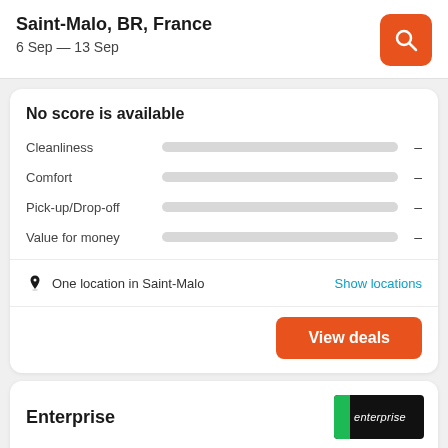Saint-Malo, BR, France
6 Sep — 13 Sep
No score is available
Cleanliness  –
Comfort  –
Pick-up/Drop-off  –
Value for money  –
One location in Saint-Malo
Show locations
View deals
Enterprise
[Figure (logo): Enterprise car rental logo — green stripe on left, white italic text on black background]
No score is available